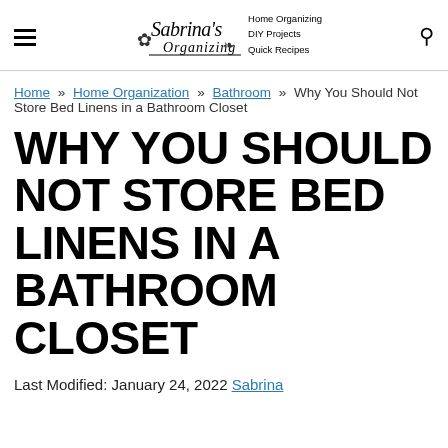Sabrina's Organizing | Home Organizing · DIY Projects · Quick Recipes
Home » Home Organization » Bathroom » Why You Should Not Store Bed Linens in a Bathroom Closet
WHY YOU SHOULD NOT STORE BED LINENS IN A BATHROOM CLOSET
Last Modified: January 24, 2022 Sabrina Sandell This blog post…